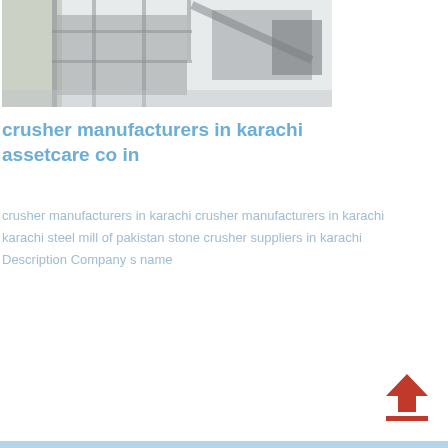[Figure (photo): Industrial stone crusher machinery with scaffolding and metal framework photographed outdoors, faded/light appearance]
crusher manufacturers in karachi assetcare co in
crusher manufacturers in karachi crusher manufacturers in karachi karachi steel mill of pakistan stone crusher suppliers in karachi Description Company s name
[Figure (other): Red upload arrow icon pointing upward with a horizontal line beneath it]